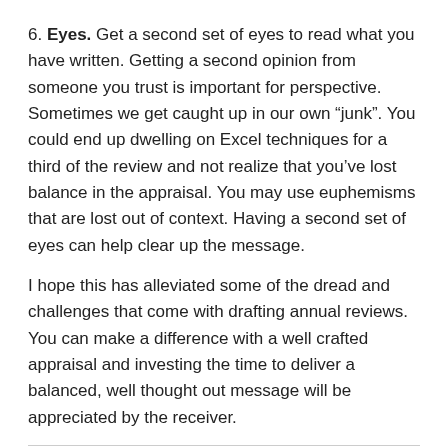6. Eyes. Get a second set of eyes to read what you have written. Getting a second opinion from someone you trust is important for perspective. Sometimes we get caught up in our own “junk”. You could end up dwelling on Excel techniques for a third of the review and not realize that you’ve lost balance in the appraisal. You may use euphemisms that are lost out of context. Having a second set of eyes can help clear up the message.
I hope this has alleviated some of the dread and challenges that come with drafting annual reviews. You can make a difference with a well crafted appraisal and investing the time to deliver a balanced, well thought out message will be appreciated by the receiver.
Share this